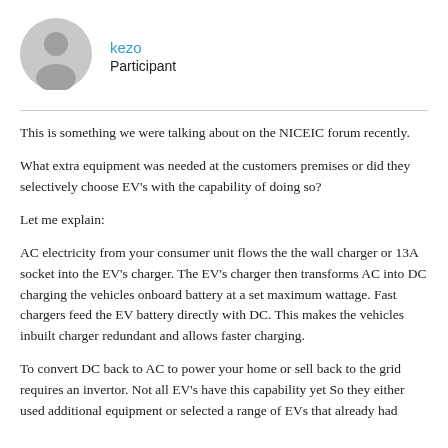[Figure (illustration): Gray circular avatar icon with a silhouette of a person]
kezo
Participant
This is something we were talking about on the NICEIC forum recently.
What extra equipment was needed at the customers premises or did they selectively choose EV's with the capability of doing so?
Let me explain:
AC electricity from your consumer unit flows the the wall charger or 13A socket into the EV's charger. The EV's charger then transforms AC into DC charging the vehicles onboard battery at a set maximum wattage. Fast chargers feed the EV battery directly with DC. This makes the vehicles inbuilt charger redundant and allows faster charging.
To convert DC back to AC to power your home or sell back to the grid requires an invertor. Not all EV's have this capability yet So they either used additional equipment or selected a range of EVs that already had